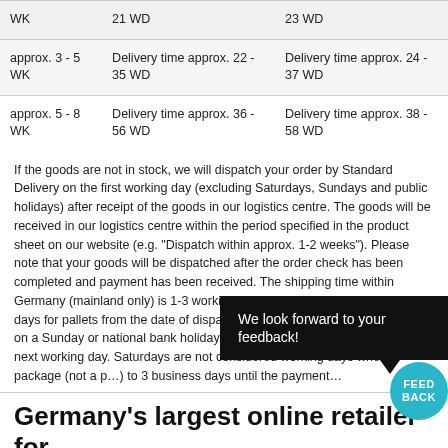|  |  |  |
| --- | --- | --- |
| WK | 21 WD | 23 WD |
| approx. 3 - 5 WK | Delivery time approx. 22 - 35 WD | Delivery time approx. 24 - 37 WD |
| approx. 5 - 8 WK | Delivery time approx. 36 - 56 WD | Delivery time approx. 38 - 58 WD |
If the goods are not in stock, we will dispatch your order by Standard Delivery on the first working day (excluding Saturdays, Sundays and public holidays) after receipt of the goods in our logistics centre. The goods will be received in our logistics centre within the period specified in the product sheet on our website (e.g. "Dispatch within approx. 1-2 weeks"). Please note that your goods will be dispatched after the order check has been completed and payment has been received. The shipping time within Germany (mainland only) is 1-3 working days for parcels and 2-6 working days for pallets from the date of dispatch. If the expected delivery date falls on a Sunday or national bank holiday, the delivery will be postponed to the next working day. Saturdays are not considered working days when a package (not a … to 3 business days until the payment…
Germany's largest online retailer for bathroom products